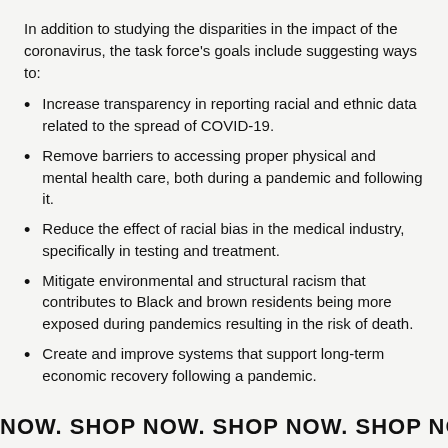In addition to studying the disparities in the impact of the coronavirus, the task force's goals include suggesting ways to:
Increase transparency in reporting racial and ethnic data related to the spread of COVID-19.
Remove barriers to accessing proper physical and mental health care, both during a pandemic and following it.
Reduce the effect of racial bias in the medical industry, specifically in testing and treatment.
Mitigate environmental and structural racism that contributes to Black and brown residents being more exposed during pandemics resulting in the risk of death.
Create and improve systems that support long-term economic recovery following a pandemic.
NOW. SHOP NOW. SHOP NOW. SHOP NOW. SHOP NOW. SHOP